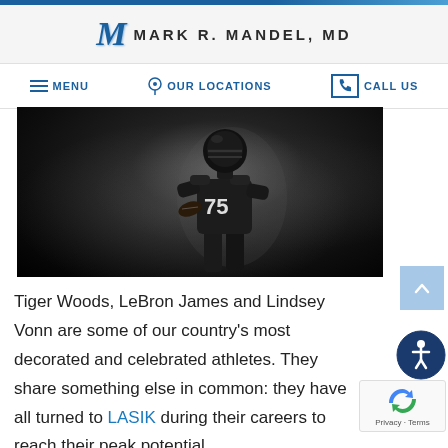MARK R. MANDEL, MD
MENU   OUR LOCATIONS   CALL US
[Figure (photo): Black and white dramatic photo of an American football player wearing jersey number 75, holding a football, standing in smoky atmospheric lighting against a dark background]
Tiger Woods, LeBron James and Lindsey Vonn are some of our country's most decorated and celebrated athletes. They share something else in common: they have all turned to LASIK during their careers to reach their peak potential.